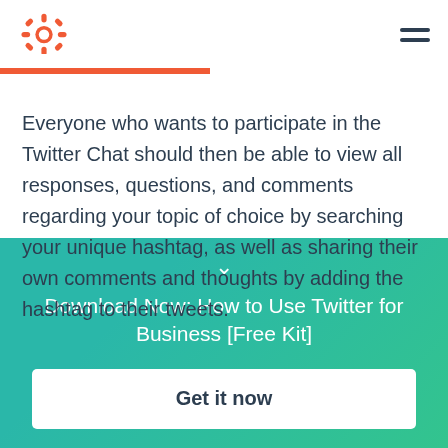HubSpot logo and navigation menu
Everyone who wants to participate in the Twitter Chat should then be able to view all responses, questions, and comments regarding your topic of choice by searching your unique hashtag, as well as sharing their own comments and thoughts by adding the hashtag to their tweets.
Download Now: How to Use Twitter for Business [Free Kit]
Get it now